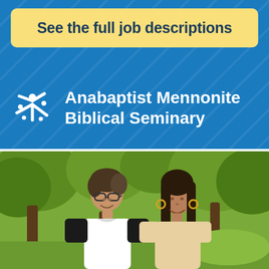See the full job descriptions
[Figure (logo): Anabaptist Mennonite Biblical Seminary logo with white starburst/people icon and white text on blue background]
[Figure (photo): Two young people smiling outdoors in front of green trees. Left person has short hair, glasses, and a black and white baseball-style shirt. Right person has long dark hair and hoop earrings.]